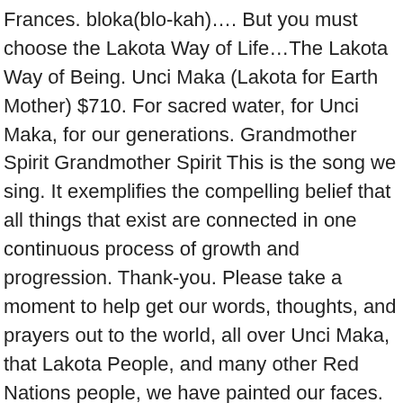Frances. bloka(blo-kah)…. But you must choose the Lakota Way of Life…The Lakota Way of Being. Unci Maka (Lakota for Earth Mother) $710. For sacred water, for Unci Maka, for our generations. Grandmother Spirit Grandmother Spirit This is the song we sing. It exemplifies the compelling belief that all things that exist are connected in one continuous process of growth and progression. Thank-you. Please take a moment to help get our words, thoughts, and prayers out to the world, all over Unci Maka, that Lakota People, and many other Red Nations people, we have painted our faces. Wakan Tanka, Wakan Tanka Unci Maka, Unci Maka le miyeye! Plow/MAKA IYUBLU/mah-kah ee-yue-blue. Unci Maka is a Lakota name for our beautiful planet. Unci Maka is a Lakota name for our beautiful planet. Das ist der Weg meines Lebens. Read More.